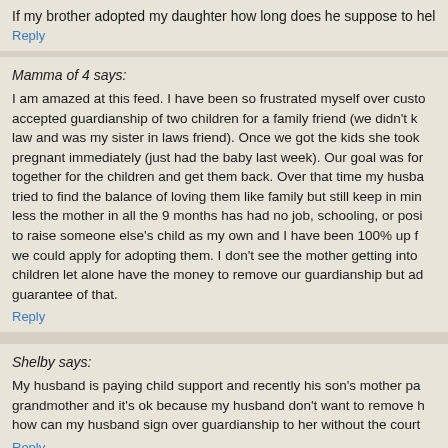If my brother adopted my daughter how long does he suppose to hel
Reply
Mamma of 4 says:
I am amazed at this feed. I have been so frustrated myself over custo accepted guardianship of two children for a family friend (we didn't k law and was my sister in laws friend). Once we got the kids she took pregnant immediately (just had the baby last week). Our goal was for together for the children and get them back. Over that time my husba tried to find the balance of loving them like family but still keep in mind less the mother in all the 9 months has had no job, schooling, or posi to raise someone else's child as my own and I have been 100% up f we could apply for adopting them. I don't see the mother getting into children let alone have the money to remove our guardianship but ad guarantee of that.
Reply
Shelby says:
My husband is paying child support and recently his son's mother pa grandmother and it's ok because my husband don't want to remove h how can my husband sign over guardianship to her without the court
Reply